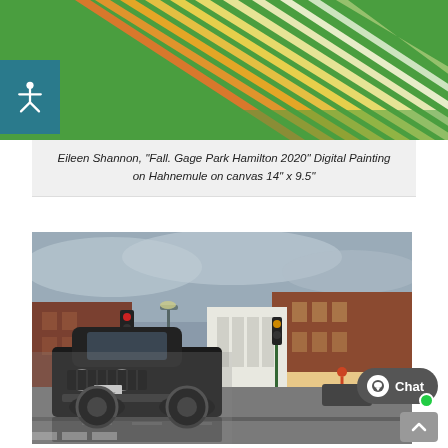[Figure (illustration): Decorative sunburst banner with green background and radiating orange, yellow, white beams from upper-left corner. An accessibility icon (person with arms outstretched) in a teal box overlaid on the left side.]
Eileen Shannon, "Fall. Gage Park Hamilton 2020" Digital Painting on Hahnemule on canvas 14" x 9.5"
[Figure (photo): Street scene photograph combining black-and-white vintage car in foreground with color background showing a downtown street, traffic lights, brick buildings, and storefronts.]